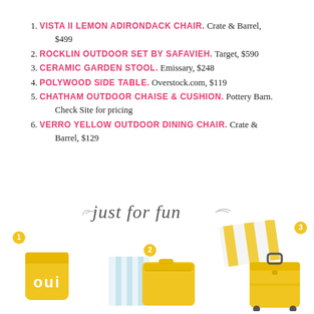1. VISTA II LEMON ADIRONDACK CHAIR. Crate & Barrel, $499
2. ROCKLIN OUTDOOR SET BY SAFAVIEH. Target, $590
3. CERAMIC GARDEN STOOL. Emissary, $248
4. POLYWOOD SIDE TABLE. Overstock.com, $119
5. CHATHAM OUTDOOR CHAISE & CUSHION. Pottery Barn. Check Site for pricing
6. VERRO YELLOW OUTDOOR DINING CHAIR. Crate & Barrel, $129
[Figure (illustration): Script text reading 'just for fun' with decorative swashes]
[Figure (photo): Yellow 'oui' branded cup/candle with yellow numbered badge 1]
[Figure (photo): Yellow cosmetic/toiletry bag with blue and white striped cloth, numbered badge 2]
[Figure (photo): Yellow and white striped towel and yellow luggage/suitcase, numbered badge 3]